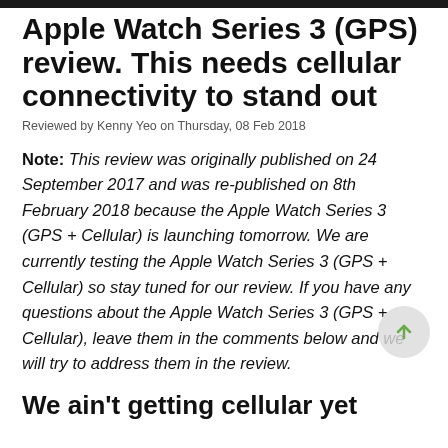Apple Watch Series 3 (GPS) review. This needs cellular connectivity to stand out
Reviewed by Kenny Yeo on Thursday, 08 Feb 2018
Note: This review was originally published on 24 September 2017 and was re-published on 8th February 2018 because the Apple Watch Series 3 (GPS + Cellular) is launching tomorrow. We are currently testing the Apple Watch Series 3 (GPS + Cellular) so stay tuned for our review. If you have any questions about the Apple Watch Series 3 (GPS + Cellular), leave them in the comments below and we will try to address them in the review.
We ain't getting cellular yet